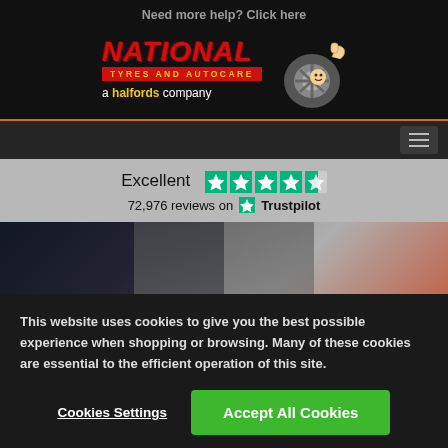Need more help? Click here
[Figure (logo): National Tyres and Autocare logo with tire mascot, 'a halfords company' tagline]
[Figure (illustration): Hamburger navigation menu icon on dark bar]
Excellent  ★★★★½  72,976 reviews on ★ Trustpilot
[Figure (photo): Photo strip showing automotive technician/mechanic]
This website uses cookies to give you the best possible experience when shopping or browsing. Many of these cookies are essential to the efficient operation of this site.
Cookies Settings
Accept All Cookies